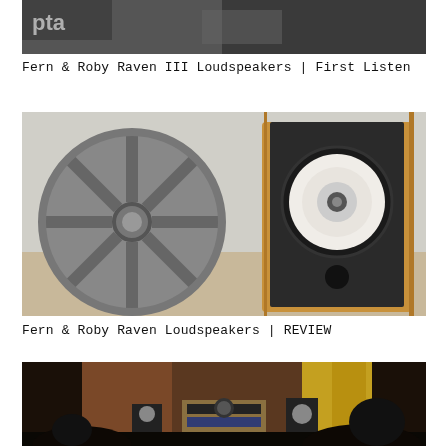[Figure (photo): Dark factory/industrial scene with speaker or audio equipment, partial view with 'pta' logo visible in top-left corner]
Fern & Roby Raven III Loudspeakers | First Listen
[Figure (photo): Fern & Roby Raven loudspeaker in wooden cabinet with black front baffle, large white driver cone visible, placed next to an industrial metal wheel in a workshop setting]
Fern & Roby Raven Loudspeakers | REVIEW
[Figure (photo): Listening room scene with two speakers on stands flanking an audio rack with turntable and amplifier, warm golden curtains in background, viewers in foreground]